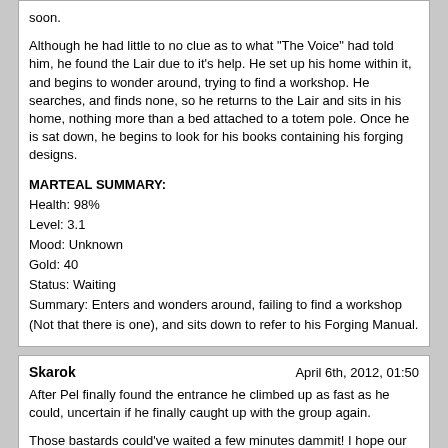soon.

Although he had little to no clue as to what "The Voice" had told him, he found the Lair due to it's help. He set up his home within it, and begins to wonder around, trying to find a workshop. He searches, and finds none, so he returns to the Lair and sits in his home, nothing more than a bed attached to a totem pole. Once he is sat down, he begins to look for his books containing his forging designs.
MARTEAL SUMMARY:
Health: 98%
Level: 3.1
Mood: Unknown
Gold: 40
Status: Waiting
Summary: Enters and wonders around, failing to find a workshop (Not that there is one), and sits down to refer to his Forging Manual.
Skarok
After Pel finally found the entrance he climbed up as fast as he could, uncertain if he finally caught up with the group again.
Those bastards could've waited a few minutes dammit! I hope our loner is here too, that all just looked too much like he tried to get away from me...
As soon as he had reached the dungeon even more bad news reached his ears.
Great, looks like I took the wrong path. But hey, if he talks about us as ex-servants of Larquidos I may found my target again. Anyways...
... but if you work against me, then you could risk the punishment coming from my might. Choose wisely."
Like you would notice what I'm doing before I'm gone. I'm a professional...